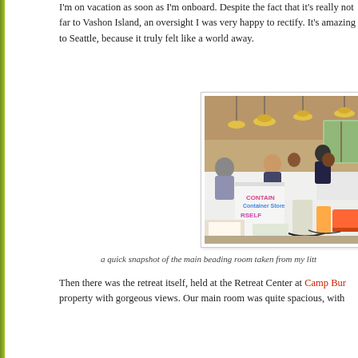I'm on vacation as soon as I'm onboard. Despite the fact that it's really not far to Vashon Island, an oversight I was very happy to rectify. It's amazing to Seattle, because it truly felt like a world away.
[Figure (photo): Indoor photo of a beading retreat room with multiple people seated at long tables covered with white tablecloths, working on beading projects. Hanging pendant lights illuminate the large warm-toned room. In the foreground is a large white shopping bag with pink and blue text reading CONTAIN YOURSELF. Various supplies, sewing machines, and craft materials are visible on the tables.]
a quick snapshot of the main beading room taken from my litt
Then there was the retreat itself, held at the Retreat Center at Camp Bur property with gorgeous views. Our main room was quite spacious, with